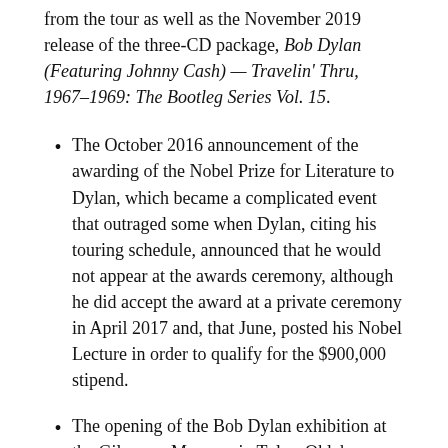from the tour as well as the November 2019 release of the three-CD package, Bob Dylan (Featuring Johnny Cash) — Travelin' Thru, 1967–1969: The Bootleg Series Vol. 15.
The October 2016 announcement of the awarding of the Nobel Prize for Literature to Dylan, which became a complicated event that outraged some when Dylan, citing his touring schedule, announced that he would not appear at the awards ceremony, although he did accept the award at a private ceremony in April 2017 and, that June, posted his Nobel Lecture in order to qualify for the $900,000 stipend.
The opening of the Bob Dylan exhibition at the Gilcrease Museum in Tulsa, Oklahoma